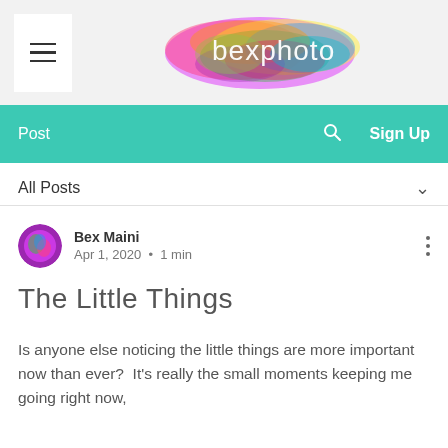[Figure (logo): bexphoto watercolor cloud logo with hamburger menu icon on left]
Post   🔍   Sign Up
All Posts
Bex Maini
Apr 1, 2020  •  1 min
The Little Things
Is anyone else noticing the little things are more important now than ever?  It's really the small moments keeping me going right now,